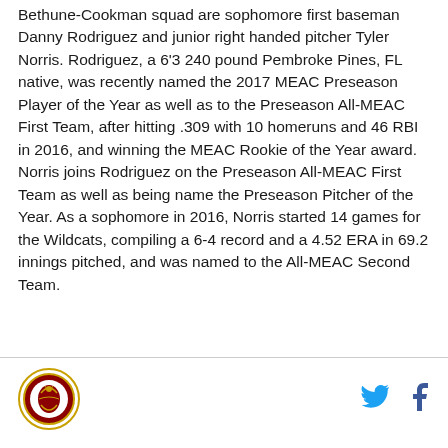Bethune-Cookman squad are sophomore first baseman Danny Rodriguez and junior right handed pitcher Tyler Norris. Rodriguez, a 6'3 240 pound Pembroke Pines, FL native, was recently named the 2017 MEAC Preseason Player of the Year as well as to the Preseason All-MEAC First Team, after hitting .309 with 10 homeruns and 46 RBI in 2016, and winning the MEAC Rookie of the Year award. Norris joins Rodriguez on the Preseason All-MEAC First Team as well as being name the Preseason Pitcher of the Year. As a sophomore in 2016, Norris started 14 games for the Wildcats, compiling a 6-4 record and a 4.52 ERA in 69.2 innings pitched, and was named to the All-MEAC Second Team.
[Figure (logo): Bethune-Cookman Wildcats circular logo with red and gold emblem]